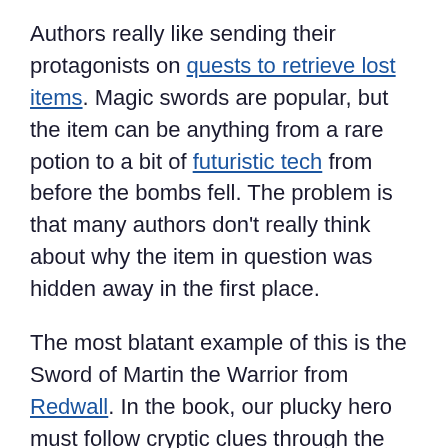Authors really like sending their protagonists on quests to retrieve lost items. Magic swords are popular, but the item can be anything from a rare potion to a bit of futuristic tech from before the bombs fell. The problem is that many authors don't really think about why the item in question was hidden away in the first place.
The most blatant example of this is the Sword of Martin the Warrior from Redwall. In the book, our plucky hero must follow cryptic clues through the winding halls of Redwall Abbey in order to track down the lost sword. Except it isn't lost, because someone left clues for how to find it. So, why was it hidden away in the first place?